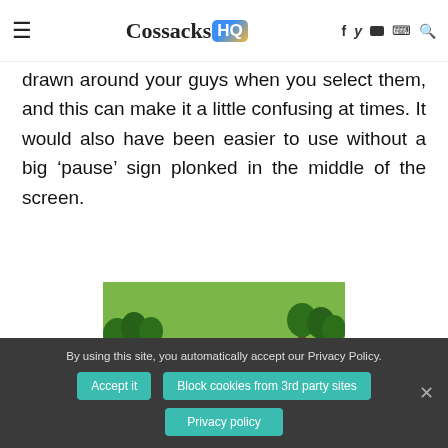≡ CossacksHQ [logo] f y ▶ ♦ 🔍
drawn around your guys when you select them, and this can make it a little confusing at times. It would also have been easier to use without a big 'pause' sign plonked in the middle of the screen.
[Figure (screenshot): Isometric strategy game screenshot showing green landscape with trees, rocks, and military units on grassy terrain]
By using this site, you automatically accept our Privacy Policy.
Accept it | Block cookies from 3rd party sites | Privacy policy